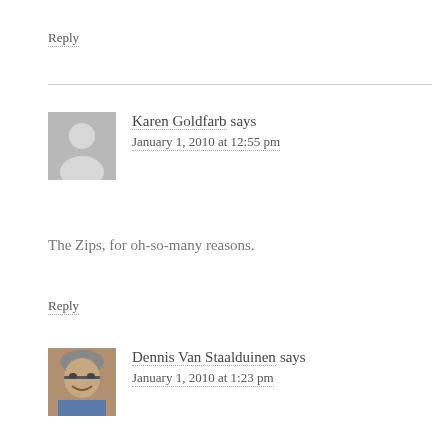Reply
Karen Goldfarb says
January 1, 2010 at 12:55 pm
The Zips, for oh-so-many reasons.
Reply
Dennis Van Staalduinen says
January 1, 2010 at 1:23 pm